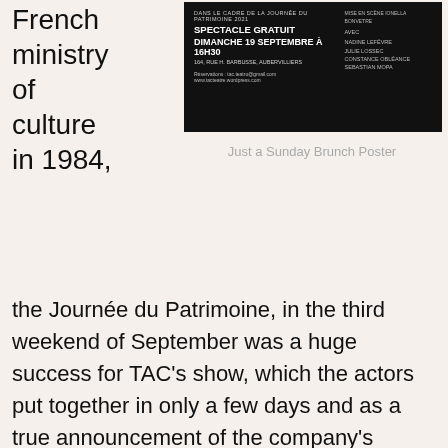French ministry of culture in 1984,
[Figure (photo): Black poster for a theatre show: 'DANS LE CADRE DE LA JOURNÉE DU PATRIMOINE 2021 / SPECTACLE GRATUIT / DIMANCHE 19 SEPTEMBRE À 16H30 / 164, RUE H. BARBUSSE, AUBERVILLIERS / RÉSERVATIONS: TAC.TEATRO@GMAIL.COM / WWW.TACTEATRE.WORDPRESS.COM' with cast and crew on right side.]
Just a Sunday Brunch Poster
the Journée du Patrimoine, in the third weekend of September was a huge success for TAC's show, which the actors put together in only a few days and as a true announcement of the company's arrival in Aubervilliers. Meant to highlight and show off the history of places and their artistic heritage, the day was a collaboration amongst many of the different artists of the space where TAC has been working in Aubervilliers, at 164 rue Henri Barbusse, and old warehouse-like space with musicians, sculptors and